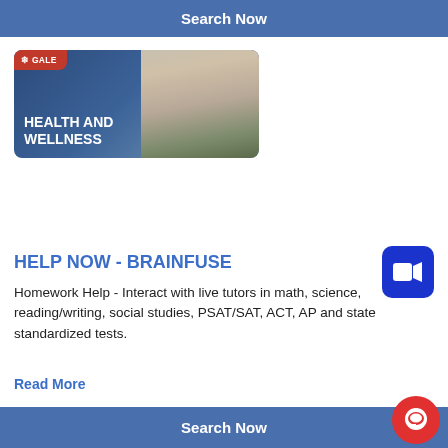Search Now
[Figure (screenshot): Gale Health and Wellness database banner with orange Gale logo label at top-left, bold white text 'HEALTH AND WELLNESS' at bottom-left, and a photo of a woman and child at right, on a dark blue gradient background]
[Figure (screenshot): Blue square button with white video camera icon (Zoom-style)]
HELP NOW - BRAINFUSE
Homework Help - Interact with live tutors in math, science, reading/writing, social studies, PSAT/SAT, ACT, AP and state standardized tests.
Read More
Search Now
[Figure (screenshot): Red circular chat/message bubble button in bottom-right corner]